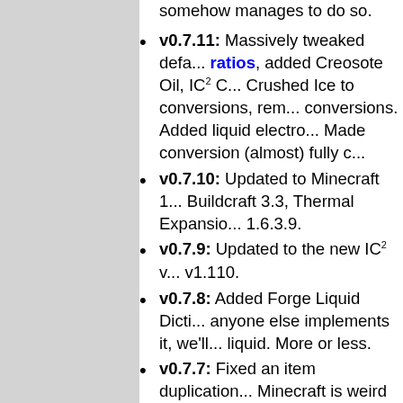somehow manages to do so.
v0.7.11: Massively tweaked default ratios, added Creosote Oil, IC2 Co... Crushed Ice to conversions, remo... conversions. Added liquid electro... Made conversion (almost) fully c...
v0.7.10: Updated to Minecraft 1... Buildcraft 3.3, Thermal Expansio... 1.6.3.9.
v0.7.9: Updated to the new IC2 v... v1.110.
v0.7.8: Added Forge Liquid Dicti... anyone else implements it, we'll... liquid. More or less.
v0.7.7: Fixed an item duplication... Minecraft is weird sometimes.
v0.7.6b: Took out some spammy... I'd forgotten about.
v0.7.6: ThermalExpansion's Liqu... may no longer liquify UU, added... UU can to Creative inventory, ma... machines to hide their output (s...
v0.7.5: Found missing tooltip -- i... very well.
v0.7.4: B... f... d... li... ti...